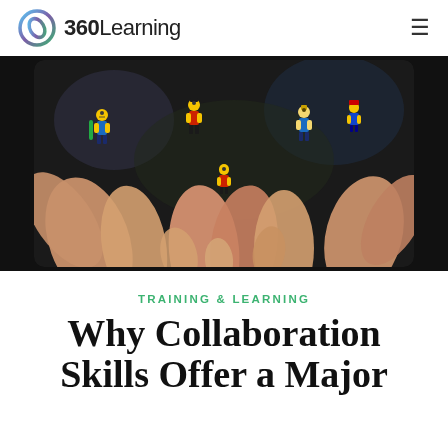360Learning
[Figure (photo): Multiple hands holding colorful LEGO minifigures together, photographed from above against a dark background.]
TRAINING & LEARNING
Why Collaboration Skills Offer a Major